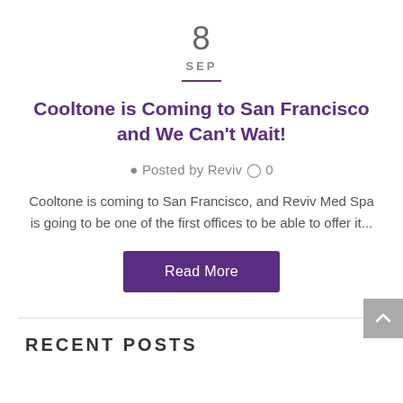8
SEP
Cooltone is Coming to San Francisco and We Can't Wait!
Posted by Reviv  0
Cooltone is coming to San Francisco, and Reviv Med Spa is going to be one of the first offices to be able to offer it...
Read More
RECENT POSTS